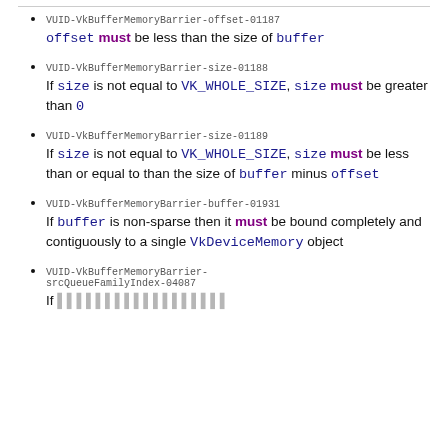VUID-VkBufferMemoryBarrier-offset-01187 offset must be less than the size of buffer
VUID-VkBufferMemoryBarrier-size-01188 If size is not equal to VK_WHOLE_SIZE, size must be greater than 0
VUID-VkBufferMemoryBarrier-size-01189 If size is not equal to VK_WHOLE_SIZE, size must be less than or equal to than the size of buffer minus offset
VUID-VkBufferMemoryBarrier-buffer-01931 If buffer is non-sparse then it must be bound completely and contiguously to a single VkDeviceMemory object
VUID-VkBufferMemoryBarrier-srcQueueFamilyIndex-04087